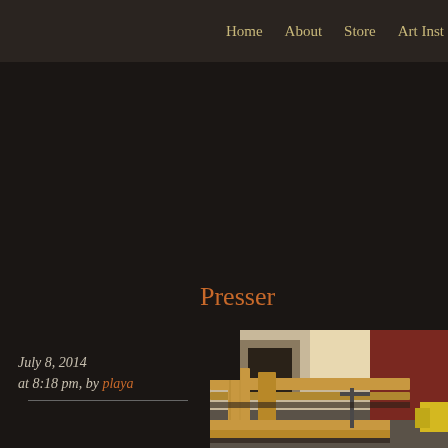Home   About   Store   Art Inst
Presser
July 8, 2014 at 8:18 pm, by playa
[Figure (photo): Wooden presser construction - timber beams and boards assembled outdoors, with red building visible in background and workshop equipment nearby]